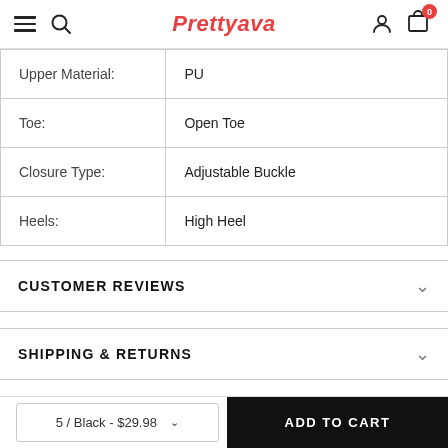Prettyava
| Upper Material: | PU |
| Toe: | Open Toe |
| Closure Type: | Adjustable Buckle |
| Heels: | High Heel |
CUSTOMER REVIEWS
SHIPPING & RETURNS
HAVE QUESTIONS? ASK AN EXPERT
5 / Black - $29.98   ADD TO CART